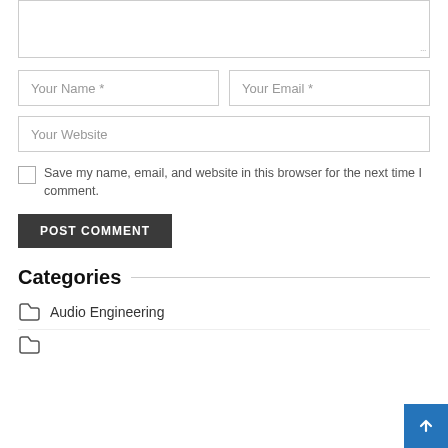[Figure (screenshot): A comment form partial view showing a textarea (partially visible at top), two input fields (Your Name *, Your Email *), a full-width input (Your Website), a checkbox with label 'Save my name, email, and website in this browser for the next time I comment.', a POST COMMENT button, a Categories section header with a horizontal rule, and an Audio Engineering category list item. A blue scroll-to-top button is in the bottom right corner.]